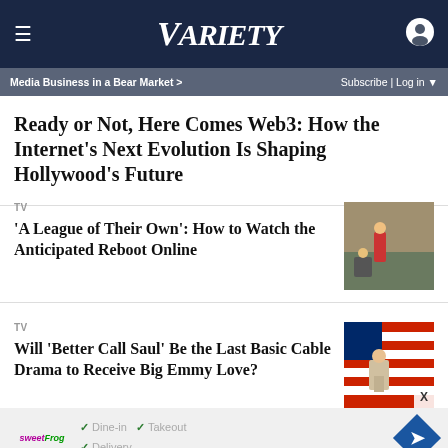≡   VARIETY   [user icon]
Media Business in a Bear Market >   Subscribe | Log in ▼
Ready or Not, Here Comes Web3: How the Internet's Next Evolution Is Shaping Hollywood's Future
TV
'A League of Their Own': How to Watch the Anticipated Reboot Online
[Figure (photo): Scene from A League of Their Own showing players on a baseball field]
TV
Will 'Better Call Saul' Be the Last Basic Cable Drama to Receive Big Emmy Love?
[Figure (photo): Scene from Better Call Saul with person in front of American flag]
[Figure (other): Advertisement for SweetFrog showing Dine-in, Takeout, Delivery options with navigation arrow icon]